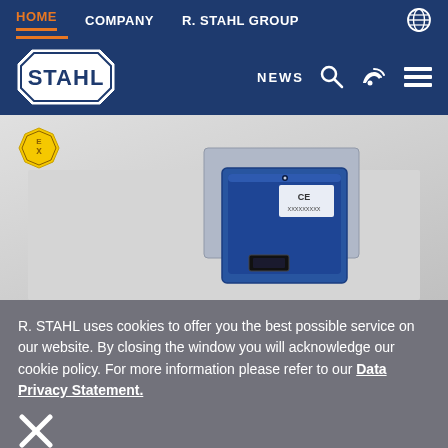HOME  COMPANY  R. STAHL GROUP
[Figure (logo): STAHL logo in octagonal white badge on dark blue navigation bar with NEWS, search, phone, and menu icons]
[Figure (photo): R. STAHL explosion-proof electronic device (blue enclosure) with CE marking, on light grey background, with ATEX Ex symbol badge in top left corner]
R. STAHL uses cookies to offer you the best possible service on our website. By closing the window you will acknowledge our cookie policy. For more information please refer to our Data Privacy Statement.